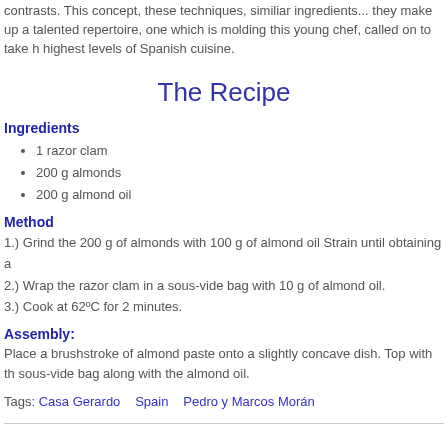contrasts. This concept, these techniques, similiar ingredients... they make up a talented repertoire, one which is molding this young chef, called on to take h highest levels of Spanish cuisine.
The Recipe
Ingredients
1 razor clam
200 g almonds
200 g almond oil
Method
1.) Grind the 200 g of almonds with 100 g of almond oil Strain until obtaining a
2.) Wrap the razor clam in a sous-vide bag with 10 g of almond oil.
3.) Cook at 62ºC for 2 minutes.
Assembly:
Place a brushstroke of almond paste onto a slightly concave dish. Top with th sous-vide bag along with the almond oil.
Tags: Casa Gerardo   Spain   Pedro y Marcos Morán